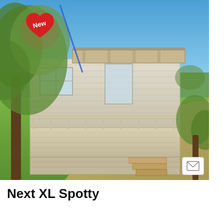[Figure (photo): Exterior photo of a mobile home/chalet called 'Next XL Spotty' with a wooden deck, stairs, surrounded by trees and grass, with a gravel path. A 'New' badge is visible in the top-left corner of the image.]
Next XL Spotty